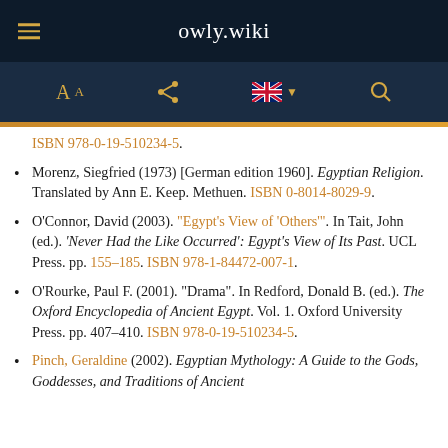owly.wiki
ISBN 978-0-19-510234-5.
Morenz, Siegfried (1973) [German edition 1960]. Egyptian Religion. Translated by Ann E. Keep. Methuen. ISBN 0-8014-8029-9.
O'Connor, David (2003). "Egypt's View of 'Others'". In Tait, John (ed.). 'Never Had the Like Occurred': Egypt's View of Its Past. UCL Press. pp. 155–185. ISBN 978-1-84472-007-1.
O'Rourke, Paul F. (2001). "Drama". In Redford, Donald B. (ed.). The Oxford Encyclopedia of Ancient Egypt. Vol. 1. Oxford University Press. pp. 407–410. ISBN 978-0-19-510234-5.
Pinch, Geraldine (2002). Egyptian Mythology: A Guide to the Gods, Goddesses, and Traditions of Ancient